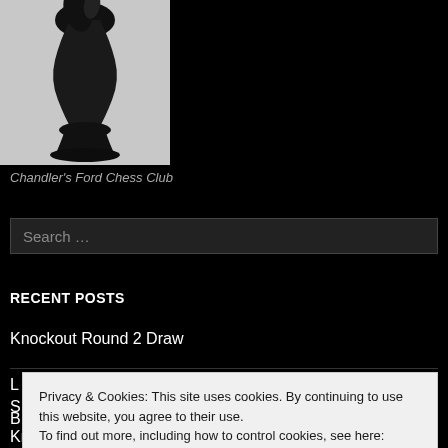[Figure (photo): Chess piece (dark knight) photographed against light background]
Chandler's Ford Chess Club
Search …
RECENT POSTS
Knockout Round 2 Draw
Privacy & Cookies: This site uses cookies. By continuing to use this website, you agree to their use.
To find out more, including how to control cookies, see here: Cookie Policy
Close and accept
Knockout Round 1 Draw